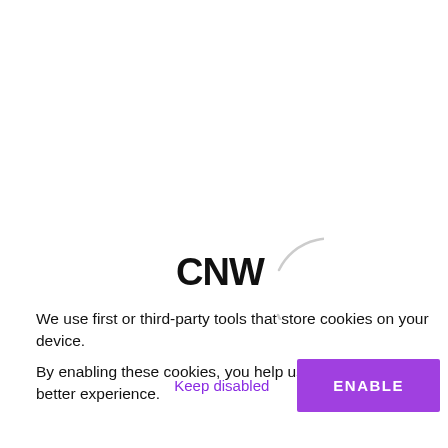[Figure (logo): CNW logo inside a partial circle/loading spinner arc]
We use first or third-party tools that store cookies on your device.
By enabling these cookies, you help us to offer you a better experience.
Keep disabled
ENABLE